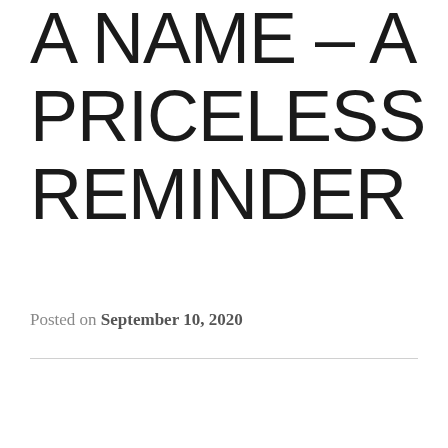A NAME – A PRICELESS REMINDER
Posted on September 10, 2020